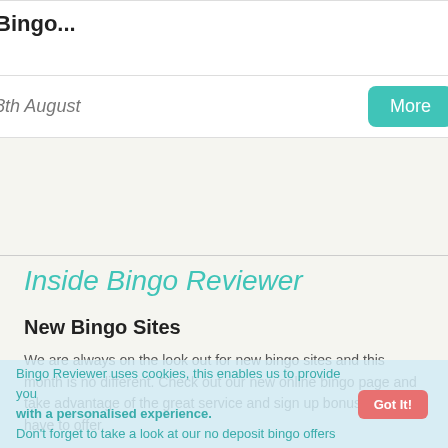Bingo...
8th August
Inside Bingo Reviewer
New Bingo Sites
We are always on the look out for new bingo sites and this month is no different. Check out our new online bingo page and take advantage of the great service and sign up bonuses they have to offer.
Take A Look ▶
Bingo competition
This month we have a host of great bingo competitions. Enter to win a 16GB iPad 2 as well as other cool prizes. Don't forget to take a look at our no deposit bingo offers
Bingo Reviewer uses cookies, this enables us to provide you with a personalised experience.